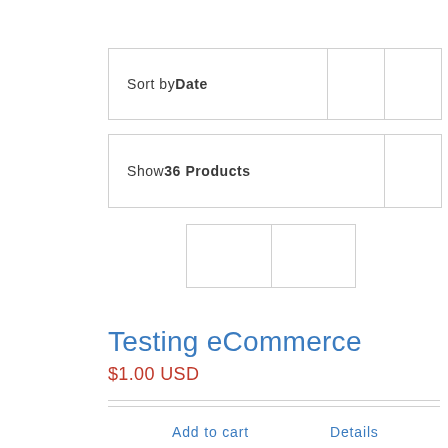[Figure (screenshot): Sort by Date dropdown bar with two icon buttons on the right]
[Figure (screenshot): Show 36 Products dropdown bar with one icon button on the right]
[Figure (screenshot): Grid toggle with two cells]
Testing eCommerce
$1.00 USD
Add to cart
Details